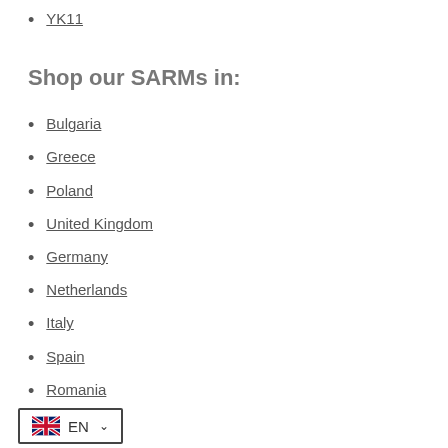YK11
Shop our SARMs in:
Bulgaria
Greece
Poland
United Kingdom
Germany
Netherlands
Italy
Spain
Romania
France